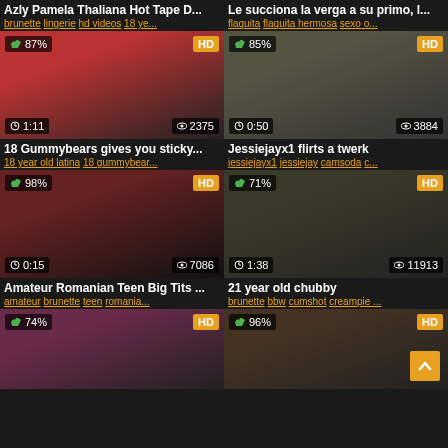Azly Pamela Thaliana Hot Tape D...
brunette lingerie hd videos 18 ye...
[Figure (photo): Video thumbnail with 87% like rating, HD badge, duration 1:11, 2375 views]
Le succiona la verga a su primo, l...
flaquita flaquita hermosa sexo o...
[Figure (photo): Video thumbnail with 85% like rating, HD badge, duration 0:50, 3884 views]
18 Gummybears gives you sticky...
18 year old latina 18 gummybear...
[Figure (photo): Video thumbnail with 98% like rating, HD badge, duration 0:15, 7086 views]
Jessiejayx1 flirts a twerk
jessiejayx1 jessiejay camsoda c...
[Figure (photo): Video thumbnail with 71% like rating, HD badge, duration 1:38, 11913 views]
Amateur Romanian Teen Big Tits ...
amateur brunette teen romania...
[Figure (photo): Video thumbnail with 74% like rating, HD badge, partial view]
21 year old chubby
brunette bbw cumshot creampie ...
[Figure (photo): Video thumbnail with 96% like rating, HD badge, partial view]